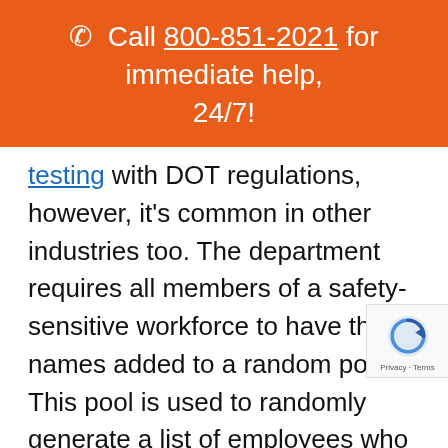📞 Call 800-851-2021 for immediate help, 24/7!
testing with DOT regulations, however, it's common in other industries too. The department requires all members of a safety-sensitive workforce to have their names added to a random pool. This pool is used to randomly generate a list of employees who are required to take a drug test.
DOT drug testing